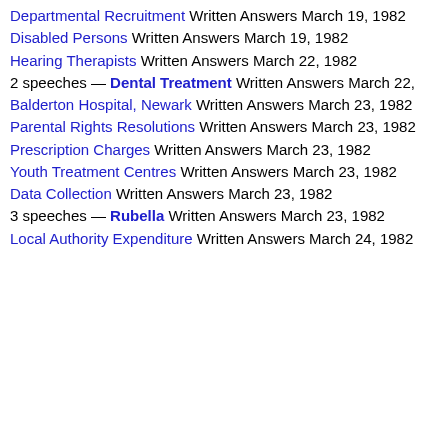Departmental Recruitment Written Answers March 19, 1982
Disabled Persons Written Answers March 19, 1982
Hearing Therapists Written Answers March 22, 1982
2 speeches — Dental Treatment Written Answers March 22, 1982
Balderton Hospital, Newark Written Answers March 23, 1982
Parental Rights Resolutions Written Answers March 23, 1982
Prescription Charges Written Answers March 23, 1982
Youth Treatment Centres Written Answers March 23, 1982
Data Collection Written Answers March 23, 1982
3 speeches — Rubella Written Answers March 23, 1982
Local Authority Expenditure Written Answers March 24, 1982